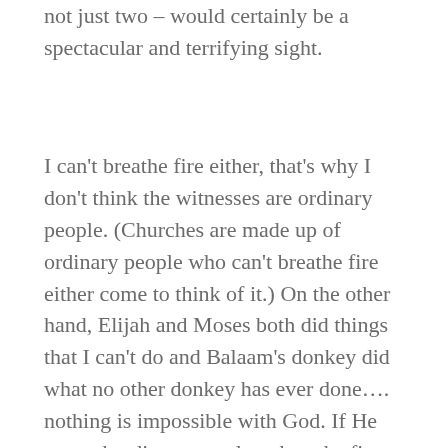not just two – would certainly be a spectacular and terrifying sight.
I can't breathe fire either, that's why I don't think the witnesses are ordinary people. (Churches are made up of ordinary people who can't breathe fire either come to think of it.) On the other hand, Elijah and Moses both did things that I can't do and Balaam's donkey did what no other donkey has ever done…. nothing is impossible with God. If He wanted ordinary people to breathe fire, they would.